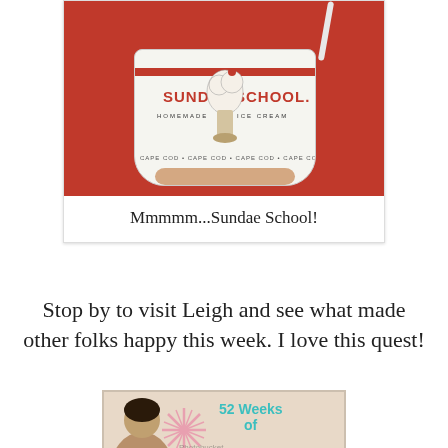[Figure (photo): Photo of a hand holding a white Sundae School Homemade Ice Cream cup against a red background, with a straw in it. The cup has red stripes and reads 'SUNDAE SCHOOL HOMEMADE ICE CREAM' and 'CAPE COD' repeated around the bottom.]
Mmmmm...Sundae School!
Stop by to visit Leigh and see what made other folks happy this week. I love this quest!
[Figure (logo): Banner image for '52 Weeks of Happiness' with a retro-style illustration of a woman with a camera and a starburst design. Photobucket watermark visible.]